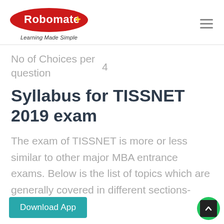[Figure (logo): Robomate+ logo — red ellipse with white text 'Robomate+' and yellow plus sign, tagline 'Learning Made Simple' below]
No of Choices per question    4
Syllabus for TISSNET 2019 exam
The exam of TISSNET is more or less similar to other major MBA entrance exams. Below is the list of topics which are generally covered in different sections-